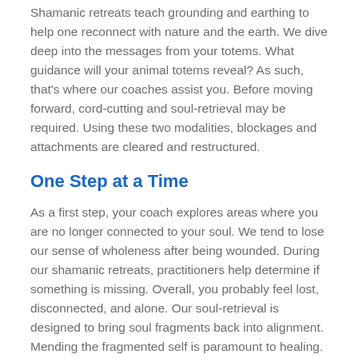Shamanic retreats teach grounding and earthing to help one reconnect with nature and the earth. We dive deep into the messages from your totems. What guidance will your animal totems reveal? As such, that's where our coaches assist you. Before moving forward, cord-cutting and soul-retrieval may be required. Using these two modalities, blockages and attachments are cleared and restructured.
One Step at a Time
As a first step, your coach explores areas where you are no longer connected to your soul. We tend to lose our sense of wholeness after being wounded. During our shamanic retreats, practitioners help determine if something is missing. Overall, you probably feel lost, disconnected, and alone. Our soul-retrieval is designed to bring soul fragments back into alignment. Mending the fragmented self is paramount to healing. You'll experience more positive flow and energy in the body. Suicidal tendencies, unhealed grief, and PTSD are all signs that soul-retrieval is necessary. Likewise, many traumas cause the loss of self. To name a few: